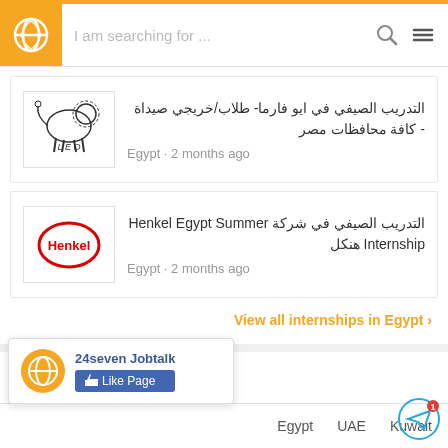[Figure (screenshot): App header with orange logo icon and search bar with magnifier and hamburger menu]
[Figure (logo): LEO pharma lion logo in white bordered box]
التدريب الصيفي في ايو فارما- طلاب/خريجي صيداة - كافة محافظات مصر
Egypt · 2 months ago
[Figure (logo): Henkel logo in red oval in white bordered box]
التدريب الصيفي في شركة Henkel Egypt Summer Internship هنكل
Egypt · 2 months ago
View all internships in Egypt ›
Recently Posted Jobs
[Figure (screenshot): Social media popup showing 24seven Jobtalk page with Like Page button]
UAE
Kuwait